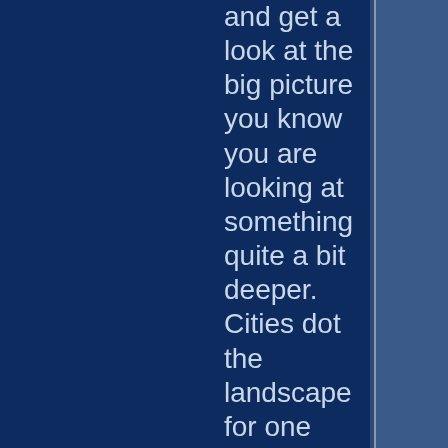and get a look at the big picture you know you are looking at something quite a bit deeper. Cities dot the landscape for one thing. You also have roadways and trade